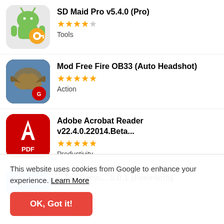SD Maid Pro v5.4.0 (Pro) — Tools — 4 stars
Mod Free Fire OB33 (Auto Headshot) — Action — 4.5 stars
Adobe Acrobat Reader v22.4.0.22014.Beta... — Productivity — 5 stars
Tor Browser 8.0.1 (Premium) — partial
This website uses cookies from Google to enhance your experience. Learn More
OK, Got it!